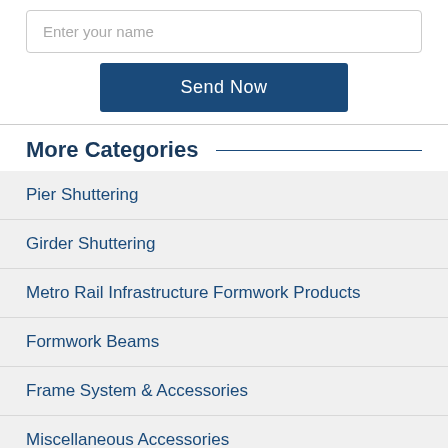Enter your name
Send Now
More Categories
Pier Shuttering
Girder Shuttering
Metro Rail Infrastructure Formwork Products
Formwork Beams
Frame System & Accessories
Miscellaneous Accessories